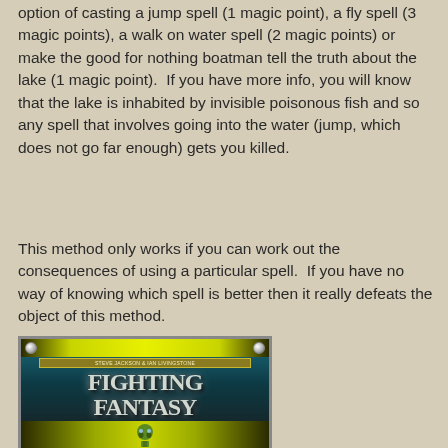option of casting a jump spell (1 magic point), a fly spell (3 magic points), a walk on water spell (2 magic points) or make the good for nothing boatman tell the truth about the lake (1 magic point).  If you have more info, you will know that the lake is inhabited by invisible poisonous fish and so any spell that involves going into the water (jump, which does not go far enough) gets you killed.
This method only works if you can work out the consequences of using a particular spell.  If you have no way of knowing which spell is better then it really defeats the object of this method.
[Figure (illustration): Book cover of Fighting Fantasy: Bloodbones by Steve Jackson and Ian Livingstone, showing the title in large metallic letters with a fantasy monster/skeleton figure on a dark teal background with yellow-green ornamental border.]